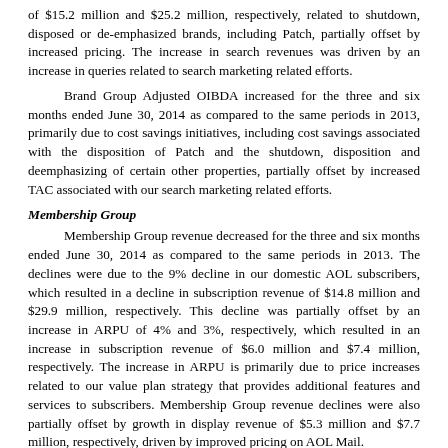of $15.2 million and $25.2 million, respectively, related to shutdown, disposed or de-emphasized brands, including Patch, partially offset by increased pricing. The increase in search revenues was driven by an increase in queries related to search marketing related efforts.
Brand Group Adjusted OIBDA increased for the three and six months ended June 30, 2014 as compared to the same periods in 2013, primarily due to cost savings initiatives, including cost savings associated with the disposition of Patch and the shutdown, disposition and deemphasizing of certain other properties, partially offset by increased TAC associated with our search marketing related efforts.
Membership Group
Membership Group revenue decreased for the three and six months ended June 30, 2014 as compared to the same periods in 2013. The declines were due to the 9% decline in our domestic AOL subscribers, which resulted in a decline in subscription revenue of $14.8 million and $29.9 million, respectively. This decline was partially offset by an increase in ARPU of 4% and 3%, respectively, which resulted in an increase in subscription revenue of $6.0 million and $7.4 million, respectively. The increase in ARPU is primarily due to price increases related to our value plan strategy that provides additional features and services to subscribers. Membership Group revenue declines were also partially offset by growth in display revenue of $5.3 million and $7.7 million, respectively, driven by improved pricing on AOL Mail.
13
Table of Contents